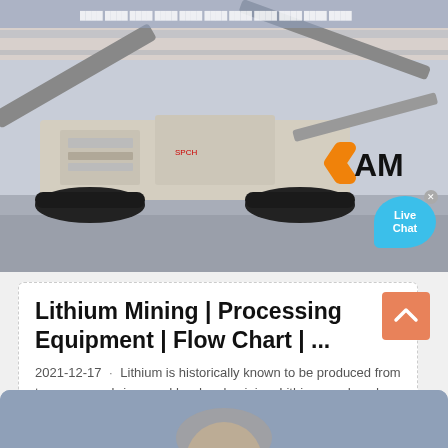[Figure (photo): Large mobile mining/crushing equipment on tracks photographed outdoors in a yard, with conveyor belts and heavy machinery visible. An orange angular logo with letters 'AM' appears in the lower right of the image. A 'Live Chat' bubble is overlaid in the lower right corner.]
Lithium Mining | Processing Equipment | Flow Chart | ...
2021-12-17 · Lithium is historically known to be produced from two sources: brines and hard rock mining. Lithium produced from brines is a cost-...
[Figure (photo): Partial view of a person or object at the bottom of the page, cropped, shown against a blue-grey background.]